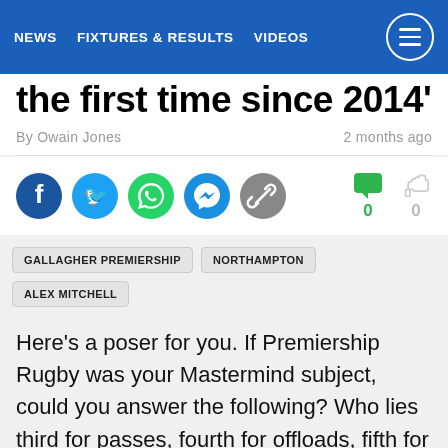NEWS   FIXTURES & RESULTS   VIDEOS
the first time since 2014'
By Owain Jones   2 months ago
[Figure (infographic): Social sharing icons: Facebook, Twitter, WhatsApp, Messenger, Link. Reaction icons: comment (green, count 0) and thumbs up (gray, count 0).]
GALLAGHER PREMIERSHIP   NORTHAMPTON   ALEX MITCHELL
Here's a poser for you. If Premiership Rugby was your Mastermind subject, could you answer the following? Who lies third for passes, fourth for offloads, fifth for tries scored (12), seventh for clean